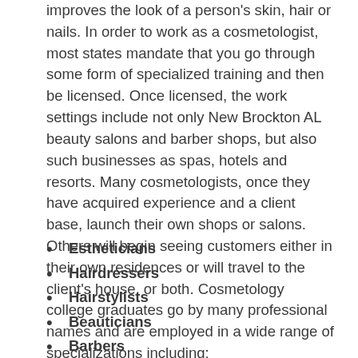improves the look of a person's skin, hair or nails. In order to work as a cosmetologist, most states mandate that you go through some form of specialized training and then be licensed. Once licensed, the work settings include not only New Brockton AL beauty salons and barber shops, but also such businesses as spas, hotels and resorts. Many cosmetologists, once they have acquired experience and a client base, launch their own shops or salons. Others will begin seeing customers either in their own residences or will travel to the client's house, or both. Cosmetology college graduates go by many professional names and are employed in a wide range of specializations including:
Estheticians
Hairdressers
Hairstylists
Beauticians
Barbers
Manicurists